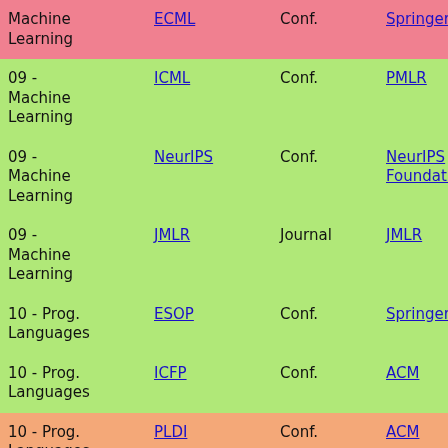| Category | Venue | Type | Publisher |
| --- | --- | --- | --- |
| 09 - Machine Learning | ECML | Conf. | Springer |
| 09 - Machine Learning | ICML | Conf. | PMLR |
| 09 - Machine Learning | NeurIPS | Conf. | NeurIPS Foundation |
| 09 - Machine Learning | JMLR | Journal | JMLR |
| 10 - Prog. Languages | ESOP | Conf. | Springer |
| 10 - Prog. Languages | ICFP | Conf. | ACM |
| 10 - Prog. Languages | PLDI | Conf. | ACM |
| 10 - Prog. Languages | POPL | Conf. | ACM |